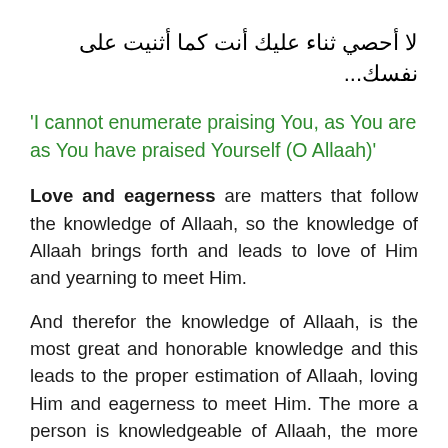لا أحصي ثناء عليك أنت كما أثنيت على نفسك...
'I cannot enumerate praising You, as You are as You have praised Yourself (O Allaah)'
Love and eagerness are matters that follow the knowledge of Allaah, so the knowledge of Allaah brings forth and leads to love of Him and yearning to meet Him.
And therefor the knowledge of Allaah, is the most great and honorable knowledge and this leads to the proper estimation of Allaah, loving Him and eagerness to meet Him. The more a person is knowledgeable of Allaah, the more perfection he is